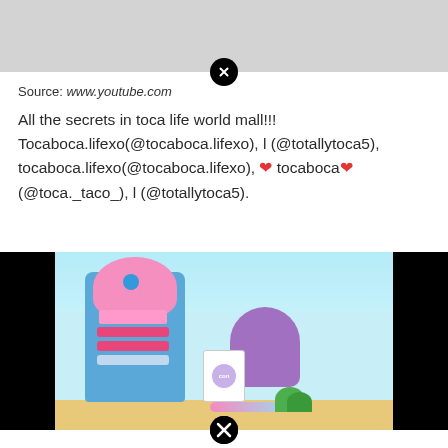[Figure (screenshot): Top portion of a gray background video/image with a close (X) button at the bottom center]
Source: www.youtube.com
All the secrets in toca life world mall!!! Tocaboca.lifexo(@tocaboca.lifexo), l (@totallytoca5), tocaboca.lifexo(@tocaboca.lifexo), ❤ tocaboca❤(@toca._taco_), l (@totallytoca5).
[Figure (screenshot): Screenshot of Toca Life World mall game showing a pink ice cream vending machine, a purple character, and colorful game environment, with a close (X) button at the bottom center]